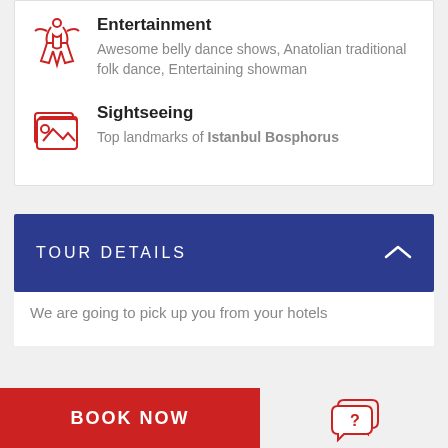Entertainment
Awesome belly dance shows, Anatolian traditional folk dance, Entertaining showman
Sightseeing
Top landmarks of Istanbul Bosphorus
TOUR DETAILS
We are going to pick up you from your hotels